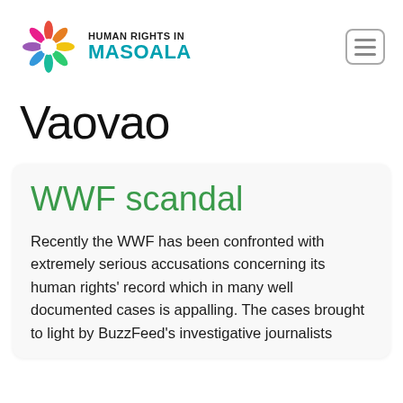HUMAN RIGHTS IN MASOALA
Vaovao
WWF scandal
Recently the WWF has been confronted with extremely serious accusations concerning its human rights' record which in many well documented cases is appalling. The cases brought to light by BuzzFeed's investigative journalists